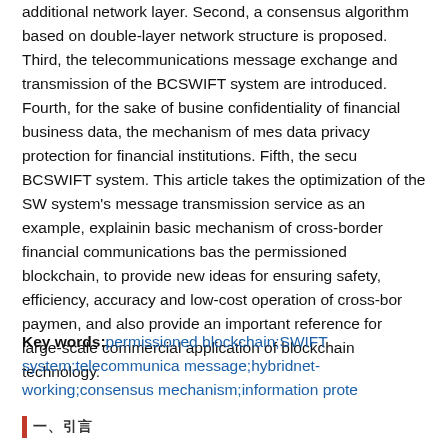additional network layer. Second, a consensus algorithm based on double-layer network structure is proposed. Third, the telecommunications message exchange and transmission of the BCSWIFT system are introduced. Fourth, for the sake of business confidentiality of financial business data, the mechanism of message data privacy protection for financial institutions. Fifth, the security of BCSWIFT system. This article takes the optimization of the SWIFT system's message transmission service as an example, explaining the basic mechanism of cross-border financial communications based on the permissioned blockchain, to provide new ideas for ensuring safety, efficiency, accuracy and low-cost operation of cross-border paymen, and also provide an important reference for large-scale commercial application of blockchain technology.
Key words: permissioned blockchain;SWIFT system;telecommunications message;hybridnet-working;consensus mechanism;information protection